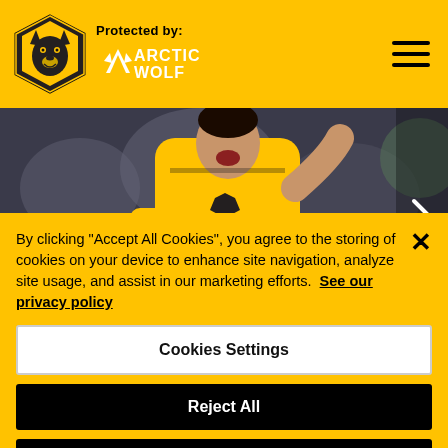[Figure (logo): Wolverhampton Wanderers wolves head logo in gold and black hexagonal shield]
Protected by:
[Figure (logo): Arctic Wolf logo in white text with mountain/wolf icon]
[Figure (photo): Raul Jimenez in yellow Wolverhampton Wanderers kit celebrating, crowd in background. Name banner at bottom reading RAUL JIMENEZ]
By clicking “Accept All Cookies”, you agree to the storing of cookies on your device to enhance site navigation, analyze site usage, and assist in our marketing efforts. See our privacy policy
Cookies Settings
Reject All
Accept All Cookies